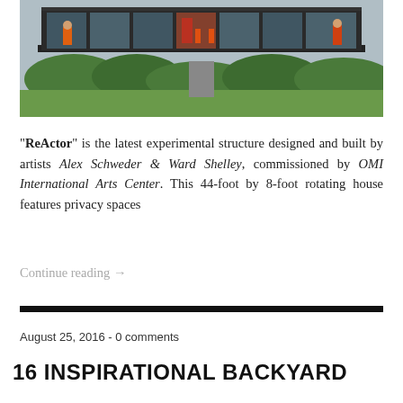[Figure (photo): Photograph of an elevated rectangular glass and steel structure (ReActor) raised on a single column above a grassy field, with two people in orange clothing standing on the open deck balcony.]
“ReActor” is the latest experimental structure designed and built by artists Alex Schweder & Ward Shelley, commissioned by OMI International Arts Center. This 44-foot by 8-foot rotating house features privacy spaces
Continue reading →
August 25, 2016 - 0 comments
16 INSPIRATIONAL BACKYARD